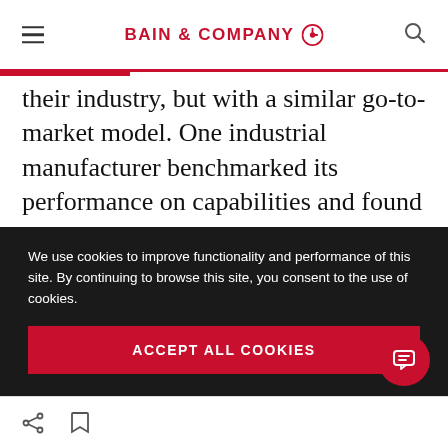BAIN & COMPANY
their industry, but with a similar go-to-market model. One industrial manufacturer benchmarked its performance on capabilities and found two areas where it could improve. The first consisted of issues that it already had begun to address. The second area included blind spots where executives had thought the organization
We use cookies to improve functionality and performance of this site. By continuing to browse this site, you consent to the use of cookies.
ACCEPT ALL COOKIES